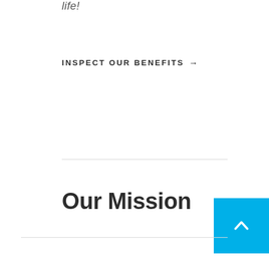life!
Inspect Our Benefits →
Our Mission
[Figure (other): Back to top button — a cyan/sky-blue square button with a white upward-pointing chevron arrow icon]